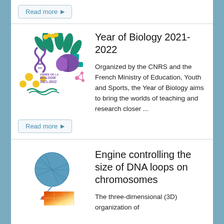Read more ▶
[Figure (illustration): Year of Biology 2021-2022 logo with green leaves, yellow mimosa flowers, purple DNA/brain elements, teal shapes, and pink molecule diagram. Text reads ANNÉE DE LA BIOLOGIE 2021-2022.]
Year of Biology 2021-2022
Organized by the CNRS and the French Ministry of Education, Youth and Sports, the Year of Biology aims to bring the worlds of teaching and research closer ...
Read more ▶
[Figure (illustration): Blue yarn ball with thread unspooling downward, red dots on the thread representing cohesin complexes, and a heatmap chromosome contact matrix in orange/yellow tones.]
Engine controlling the size of DNA loops on chromosomes
The three-dimensional (3D) organization of